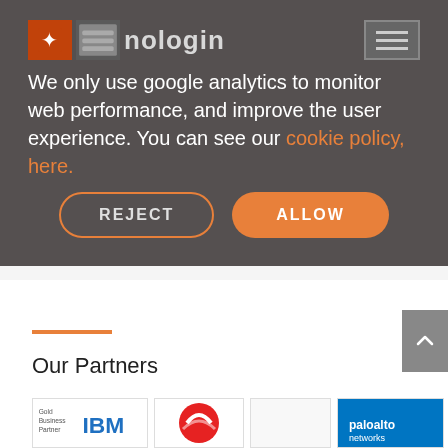[Figure (screenshot): Cookie consent banner overlay on a website. Contains the nologin logo, text about Google Analytics usage, a cookie policy link, and two buttons: REJECT and ALLOW.]
We only use google analytics to monitor web performance, and improve the user experience. You can see our cookie policy, here.
[Figure (other): Orange horizontal divider line]
Our Partners
[Figure (logo): Partner logos row showing: IBM Gold Business Partner, a red circular logo (Cisco or similar), a partially visible logo, and Palo Alto Networks blue logo.]